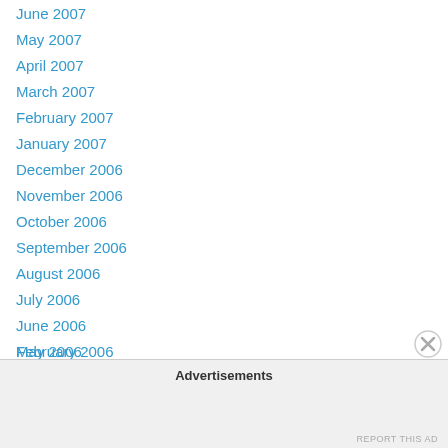June 2007
May 2007
April 2007
March 2007
February 2007
January 2007
December 2006
November 2006
October 2006
September 2006
August 2006
July 2006
June 2006
May 2006
April 2006
March 2006
February 2006
Advertisements
REPORT THIS AD